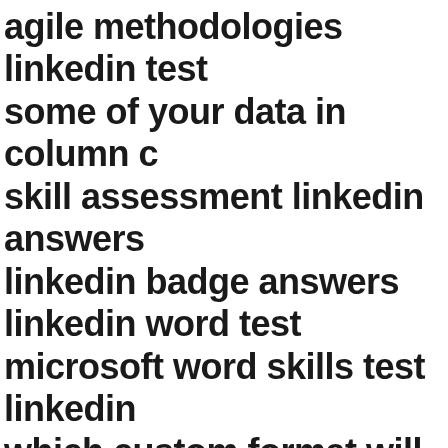agile methodologies linkedin test some of your data in column c skill assessment linkedin answers linkedin badge answers linkedin word test microsoft word skills test linkedin which custom format will make the cells in column a "you need to add a line chart